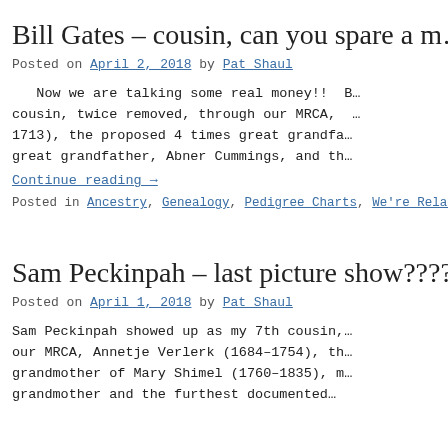Bill Gates – cousin, can you spare a m…
Posted on April 2, 2018 by Pat Shaul
Now we are talking some real money!! B… cousin, twice removed, through our MRCA, … 1713), the proposed 4 times great grandfa… great grandfather, Abner Cummings, and th…
Continue reading →
Posted in Ancestry, Genealogy, Pedigree Charts, We're Rela…
Sam Peckinpah – last picture show?????…
Posted on April 1, 2018 by Pat Shaul
Sam Peckinpah showed up as my 7th cousin,… our MRCA, Annetje Verlerk (1684-1754), th… grandmother of Mary Shimel (1760-1835), m… grandmother and the furthest documented…